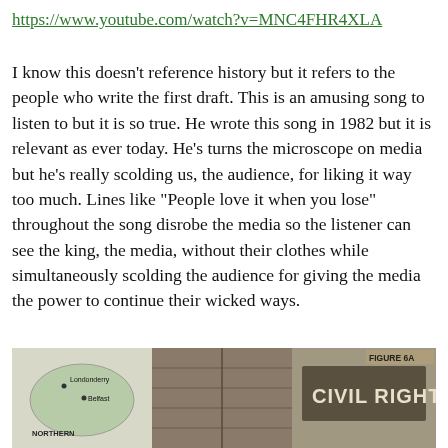https://www.youtube.com/watch?v=MNC4FHR4XLA
I know this doesn't reference history but it refers to the people who write the first draft. This is an amusing song to listen to but it is so true. He wrote this song in 1982 but it is relevant as ever today. He's turns the microscope on media but he's really scolding us, the audience, for liking it way too much. Lines like “People love it when you lose” throughout the song disrobe the media so the listener can see the king, the media, without their clothes while simultaneously scolding the audience for giving the media the power to continue their wicked ways.
[Figure (photo): A composite image showing a map of Northern Ireland with Londonderry and Belfast marked, alongside a photo of a wall or door and a sign reading CIVIL RIGHTS with a watermark FIGURE 6A in the top right.]